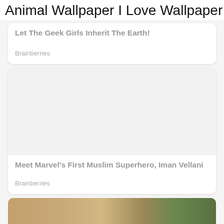Animal Wallpaper I Love Wallpaper
Let The Geek Girls Inherit The Earth!
Brainberries
[Figure (photo): Empty white image placeholder for second card]
Meet Marvel's First Muslim Superhero, Iman Vellani
Brainberries
[Figure (photo): Photo of a woman with brown hair in a room with green curtains and wooden furniture]